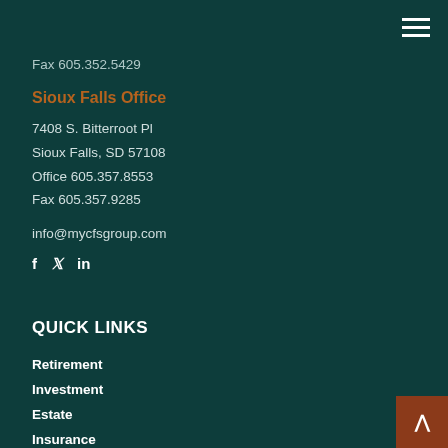Fax 605.352.5429
Sioux Falls Office
7408 S. Bitterroot Pl
Sioux Falls, SD 57108
Office 605.357.8553
Fax 605.357.9285
info@mycfsgroup.com
[Figure (other): Social media icons: Facebook, Twitter, LinkedIn]
QUICK LINKS
Retirement
Investment
Estate
Insurance